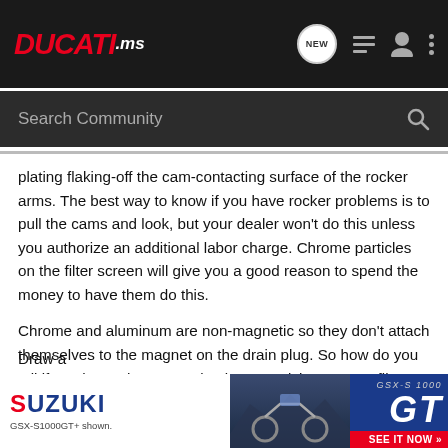DUCATI.ms
plating flaking-off the cam-contacting surface of the rocker arms. The best way to know if you have rocker problems is to pull the cams and look, but your dealer won't do this unless you authorize an additional labor charge. Chrome particles on the filter screen will give you a good reason to spend the money to have them do this.
Chrome and aluminum are non-magnetic so they don't attach themselves to the magnet on the drain plug. So how do you tell if you have chrome or aluminum particles on your filter screen? Here's a simple test.
The Test
Draw a
[Figure (screenshot): Suzuki GSX-S1000 GT advertisement banner showing motorcycle and 'SEE IT NOW' call to action]